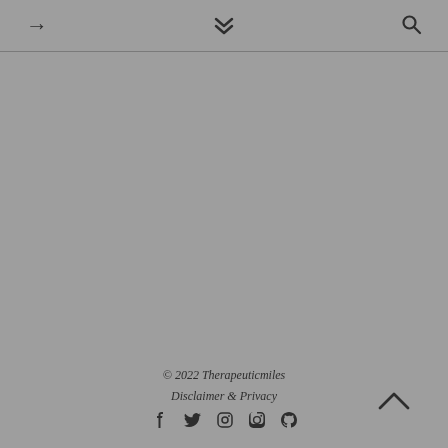→  ❯❯  🔍
© 2022 Therapeuticmiles
Disclaimer & Privacy
f  t  instagram  pinterest